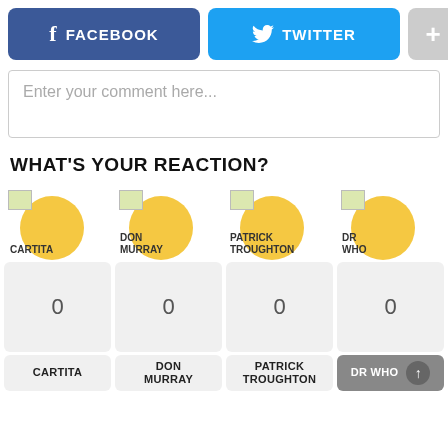[Figure (screenshot): Social sharing buttons: Facebook (blue), Twitter (light blue), and a plus (+) button (gray)]
[Figure (screenshot): Comment input box with placeholder text 'Enter your comment here...']
WHAT'S YOUR REACTION?
[Figure (infographic): Four reaction options each with a yellow circle avatar and small image icon: CARTITA, DON MURRAY, PATRICK TROUGHTON, DR WHO. Each shows a count of 0 below, and a label button at the bottom.]